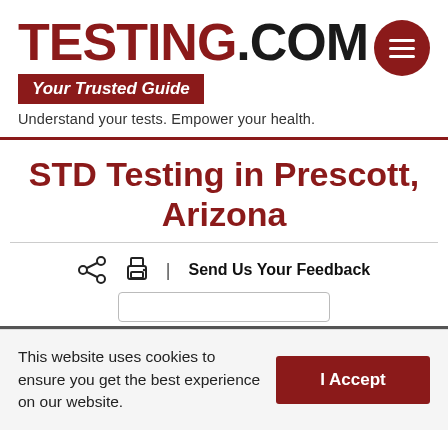TESTING.COM — Your Trusted Guide — Understand your tests. Empower your health.
STD Testing in Prescott, Arizona
Send Us Your Feedback
This website uses cookies to ensure you get the best experience on our website.